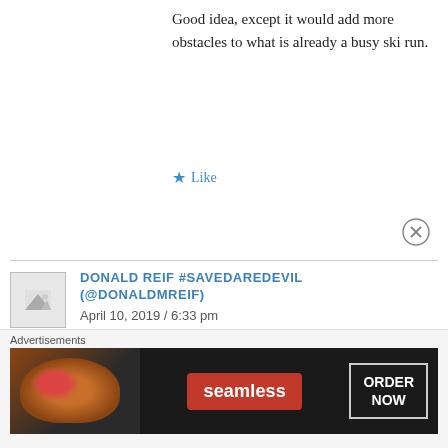Good idea, except it would add more obstacles to what is already a busy ski run.
★ Like
DONALD REIF #SAVEDAREDEVIL (@DONALDMREIF)
April 10, 2019 / 6:33 pm
“My idea would be to take one of the many fixed quads Vail should replace here, and run it from the bottom of Silverlode to the top of Crescent, which would provide a way out of this area and a way for
Advertisements